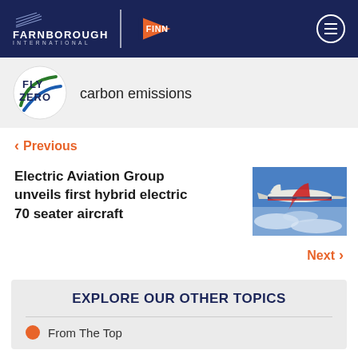FARNBOROUGH INTERNATIONAL | FINN
[Figure (logo): FlyZero circular logo with green and blue swoosh lines]
carbon emissions
< Previous
Electric Aviation Group unveils first hybrid electric 70 seater aircraft
[Figure (photo): Aerial photograph of a white hybrid electric aircraft flying above clouds]
Next >
EXPLORE OUR OTHER TOPICS
From The Top